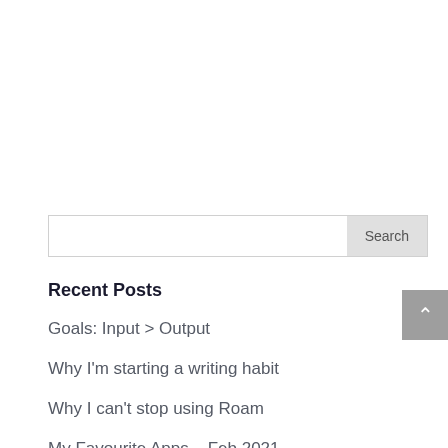Search
Recent Posts
Goals: Input > Output
Why I'm starting a writing habit
Why I can't stop using Roam
My Favourite Apps – Feb 2021